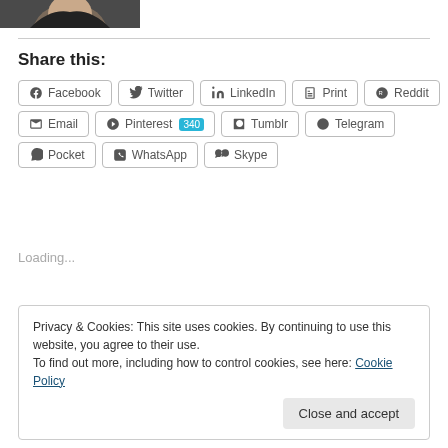[Figure (photo): Partial photo of a person with dark hair at top left]
Share this:
Facebook  Twitter  LinkedIn  Print  Reddit  Email  Pinterest 340  Tumblr  Telegram  Pocket  WhatsApp  Skype
Loading...
Privacy & Cookies: This site uses cookies. By continuing to use this website, you agree to their use.
To find out more, including how to control cookies, see here: Cookie Policy
Close and accept